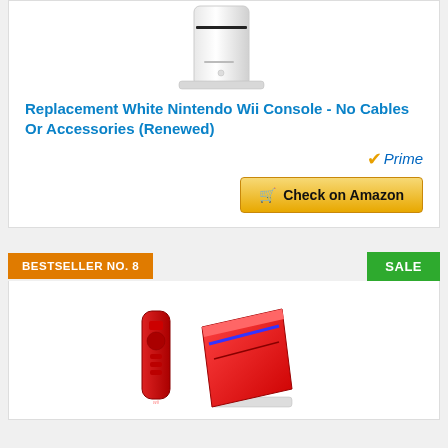[Figure (photo): White Nintendo Wii console standing vertically on a white background]
Replacement White Nintendo Wii Console - No Cables Or Accessories (Renewed)
[Figure (logo): Amazon Prime checkmark logo with 'Prime' text in blue italic]
Check on Amazon
BESTSELLER NO. 8
SALE
[Figure (photo): Red Nintendo Wii console with red Wii Remote controller]